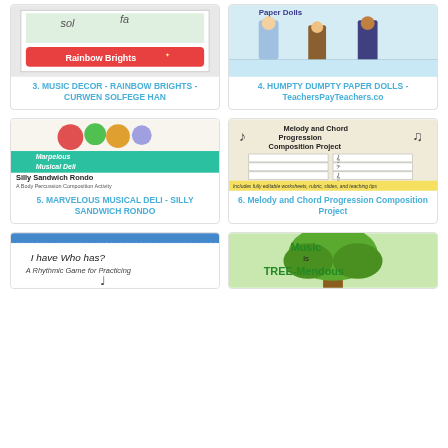[Figure (illustration): Music decor Rainbow Brights Curwen Solfege thumbnail showing sol fa text and rainbow brights logo]
3. MUSIC DECOR - RAINBOW BRIGHTS - CURWEN SOLFEGE HAN
[Figure (illustration): Humpty Dumpty Paper Dolls thumbnail showing cartoon characters]
4. HUMPTY DUMPTY PAPER DOLLS - TeachersPayTeachers.co
[Figure (illustration): Marvelous Musical Deli - Silly Sandwich Rondo Body Percussion Composition Activity thumbnail]
5. MARVELOUS MUSICAL DELI - SILLY SANDWICH RONDO
[Figure (illustration): Melody and Chord Progression Composition Project thumbnail with worksheet grids, music notes, includes fully editable worksheets rubric slides and teaching tips]
6. Melody and Chord Progression Composition Project
[Figure (illustration): I Have Who Has - A Rhythmic Game for Practicing thumbnail with music note]
[Figure (illustration): Music is TREE-Mendous thumbnail with tree illustration]